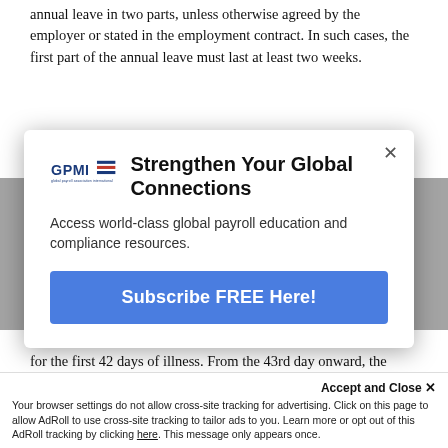annual leave in two parts, unless otherwise agreed by the employer or stated in the employment contract. In such cases, the first part of the annual leave must last at least two weeks.
Each employee has the right to sick leave for the duration of sickness until a medical doctor confirms the employee is able to return to his or her working duties, or until the period of illness is declared a permanent lack of
[Figure (other): GPMI modal popup overlay with title 'Strengthen Your Global Connections', subtitle 'Access world-class global payroll education and compliance resources.', and a 'Subscribe FREE Here!' button]
During sick leave, the employer must pay the employee's salary for the first 42 days of illness. From the 43rd day onward, the employee is compensated by the Croatian Health Insurance Fund for at least 70% of his/her average salary for the past six months. In special cases, the Health Fund can cover 100% of the employee's salary.
Maternity
Your browser settings do not allow cross-site tracking for advertising. Click on this page to allow AdRoll to use cross-site tracking to tailor ads to you. Learn more or opt out of this AdRoll tracking by clicking here. This message only appears once.